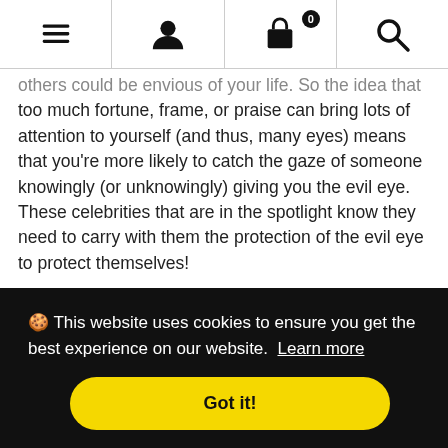[menu] [user] [cart 0] [search]
others could be envious of your life. So the idea that too much fortune, frame, or praise can bring lots of attention to yourself (and thus, many eyes) means that you're more likely to catch the gaze of someone knowingly (or unknowingly) giving you the evil eye. These celebrities that are in the spotlight know they need to carry with them the protection of the evil eye to protect themselves!
In the last 10 years, eye evil has also found it's way into the high fashion world. Kim Kardashian has been
🍪 This website uses cookies to ensure you get the best experience on our website. Learn more
Got it!